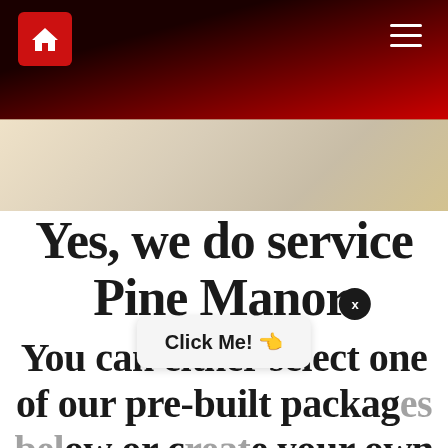[Figure (screenshot): Website header with dark red gradient background, home icon button on left, hamburger menu icon on right]
[Figure (photo): Hero image background showing blurred colorful items on a surface]
Yes, we do service Pine Manor.
You can either select one of our pre-built packages below or create your own by clicking the Create My Own Package button
[Figure (screenshot): Popup overlay with X close button and 'Click Me!' tooltip bubble with pointing hand emoji]